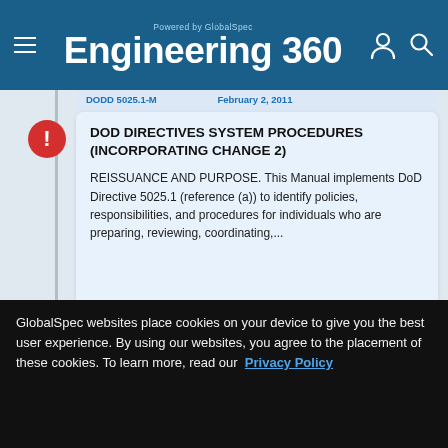Powered by GlobalSpec Engineering 360
DOD DIRECTIVES SYSTEM PROCEDURES (INCORPORATING CHANGE 2)
REISSUANCE AND PURPOSE. This Manual implements DoD Directive 5025.1 (reference (a)) to identify policies, responsibilities, and procedures for individuals who are preparing, reviewing, coordinating,...
DODD 5025.1-M CE-01 RPT    April 11, 2003
DOD DIRECTIVES SYSTEM PROCEDURES
GlobalSpec websites place cookies on your device to give you the best user experience. By using our websites, you agree to the placement of these cookies. To learn more, read our Privacy Policy